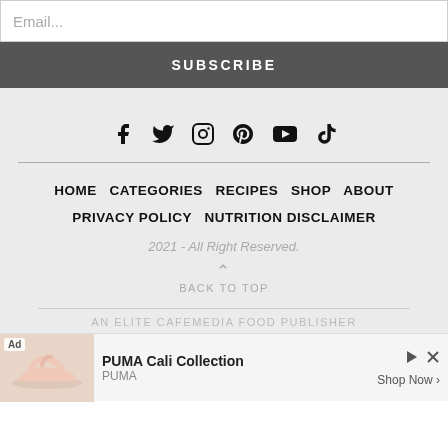Email...
SUBSCRIBE
[Figure (other): Social media icons row: Facebook, Twitter, Instagram, Pinterest, YouTube, TikTok]
HOME   CATEGORIES   RECIPES   SHOP   ABOUT   PRIVACY POLICY   NUTRITION DISCLAIMER
2021 - All Right Reserved.
BACK TO TOP
AN ELITE CAFEMEDIA FOOD PUBLISHER
[Figure (other): Ad banner: PUMA Cali Collection, Shop Now]